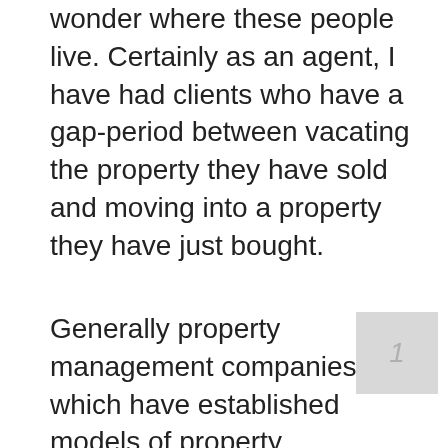wonder where these people live. Certainly as an agent, I have had clients who have a gap-period between vacating the property they have sold and moving into a property they have just bought.
Generally property management companies which have established models of property management processes will have policies and procedures that govern pets in the buildings they manage, not limited to but including conduct and size